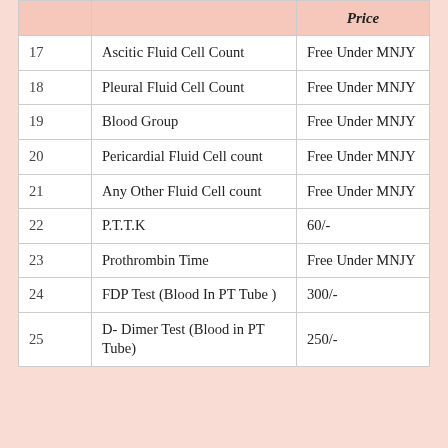| # | Test Name | Price |
| --- | --- | --- |
| 17 | Ascitic Fluid Cell Count | Free Under MNJY |
| 18 | Pleural Fluid Cell Count | Free Under MNJY |
| 19 | Blood Group | Free Under MNJY |
| 20 | Pericardial Fluid Cell count | Free Under MNJY |
| 21 | Any Other Fluid Cell count | Free Under MNJY |
| 22 | P.T.T.K | 60/- |
| 23 | Prothrombin Time | Free Under MNJY |
| 24 | FDP Test (Blood In PT Tube ) | 300/- |
| 25 | D- Dimer Test (Blood in PT Tube) | 250/- |